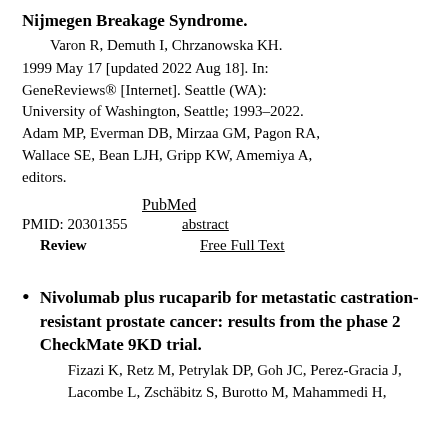Nijmegen Breakage Syndrome.
Varon R, Demuth I, Chrzanowska KH.
1999 May 17 [updated 2022 Aug 18]. In: GeneReviews® [Internet]. Seattle (WA): University of Washington, Seattle; 1993–2022. Adam MP, Everman DB, Mirzaa GM, Pagon RA, Wallace SE, Bean LJH, Gripp KW, Amemiya A, editors.
PubMed
PMID: 20301355  abstract
Review  Free Full Text
Nivolumab plus rucaparib for metastatic castration-resistant prostate cancer: results from the phase 2 CheckMate 9KD trial.
Fizazi K, Retz M, Petrylak DP, Goh JC, Perez-Gracia J, Lacombe L, Zschäbitz S, Burotto M, Mahammedi H,